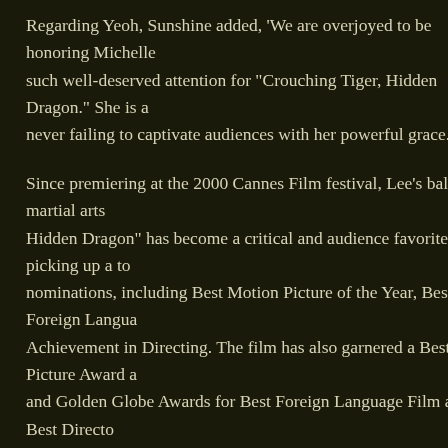Regarding Yeoh, Sunshine added, 'We are overjoyed to be honoring Michelle such well-deserved attention for "Crouching Tiger, Hidden Dragon." She is a never failing to captivate audiences with her powerful grace.'
Since premiering at the 2000 Cannes Film festival, Lee's ballistic martial arts Hidden Dragon" has become a critical and audience favorite, picking up a to nominations, including Best Motion Picture of the Year, Best Foreign Langua Achievement in Directing. The film has also garnered a Best Picture Award a and Golden Globe Awards for Best Foreign Language Film and Best Directo
A veteran of the festival circuit, Lee also premiered his 1997 film, "The Ice St Festival before it went on to open the New York Film Festival. The piercing d Kline, Joan Allen, Sigourney Weaver, Christina Ricci and Tobey Maguire, be reviewed movies.
In 1995 Lee captivated audiences with his lively adaptation of Jane Austen's starring Emma Thompson, Kate Winslet, Alan Rickman and Hugh Grant. Cite 'Ten Best' lists, the film was nominated for seven Academy Awards, including Best Adapted Screenplay. "Sense and Sensibility" also won awards for Best Screenplay Adaptation at the Golden Globes and for Best Picture at the 1996 was named Best Picture by the Boston Film Critics and the National Board o was named Best Director by the New York Film Critics and the National Boa